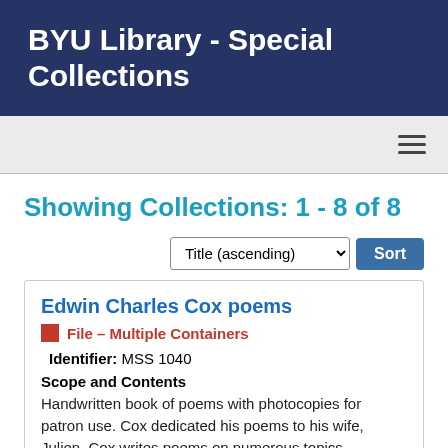BYU Library - Special Collections
Showing Collections: 1 - 8 of 8
Title (ascending) Sort
Edwin Charles Cox poems
File – Multiple Containers
Identifier: MSS 1040
Scope and Contents
Handwritten book of poems with photocopies for patron use. Cox dedicated his poems to his wife, Julien. Cox writes poems on numerous topics